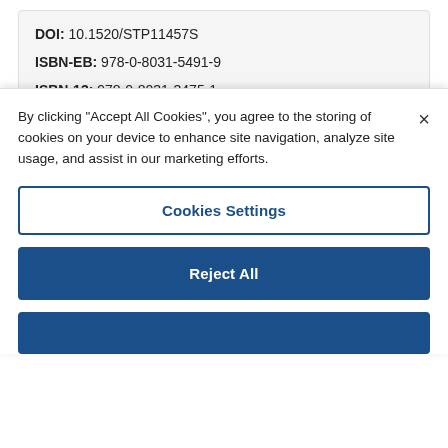DOI: 10.1520/STP11457S
ISBN-EB: 978-0-8031-5491-9
ISBN-13: 978-0-8031-3475-1
All
By clicking "Accept All Cookies", you agree to the storing of cookies on your device to enhance site navigation, analyze site usage, and assist in our marketing efforts.
Cookies Settings
Reject All